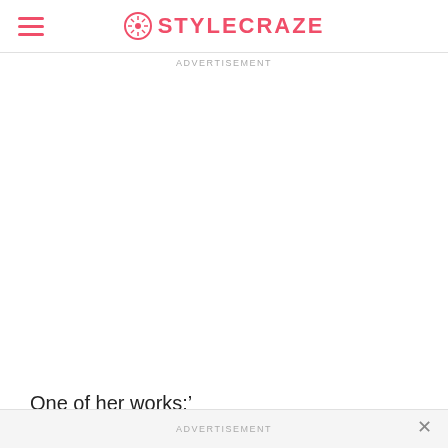STYLECRAZE
ADVERTISEMENT
One of her works:'
ADVERTISEMENT